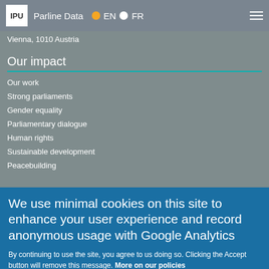IPU  Parline Data  EN  FR
Vienna, 1010 Austria
Our impact
Our work
Strong parliaments
Gender equality
Parliamentary dialogue
Human rights
Sustainable development
Peacebuilding
We use minimal cookies on this site to enhance your user experience and record anonymous usage with Google Analytics
By continuing to use the site, you agree to us doing so. Clicking the Accept button will remove this message. More on our policies
Accept